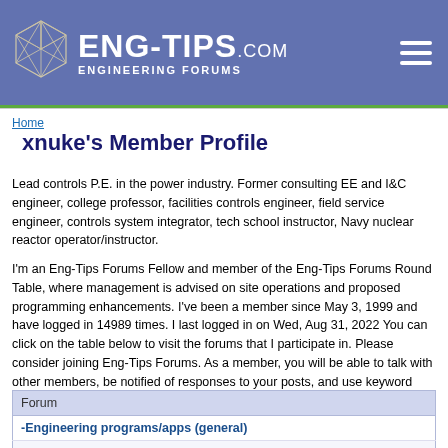[Figure (logo): Eng-Tips.com Engineering Forums logo with geometric polyhedron icon and white text on blue-purple header bar]
Home
xnuke's Member Profile
Lead controls P.E. in the power industry. Former consulting EE and I&C engineer, college professor, facilities controls engineer, field service engineer, controls system integrator, tech school instructor, Navy nuclear reactor operator/instructor.
I'm an Eng-Tips Forums Fellow and member of the Eng-Tips Forums Round Table, where management is advised on site operations and proposed programming enhancements. I've been a member since May 3, 1999 and have logged in 14989 times. I last logged in on Wed, Aug 31, 2022 You can click on the table below to visit the forums that I participate in. Please consider joining Eng-Tips Forums. As a member, you will be able to talk with other members, be notified of responses to your posts, and use keyword search.
| Forum |
| --- |
| -Engineering programs/apps (general) |
| -Engineering spreadsheets |